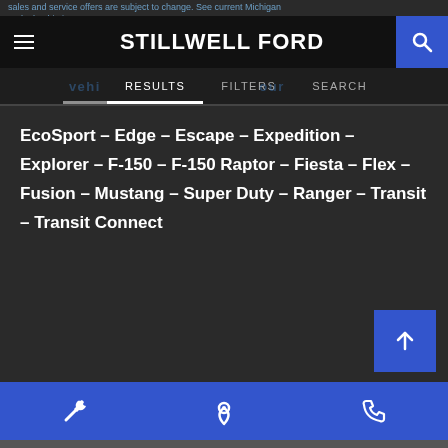sales and service offers are subject to change. See current Michigan I dealership invent...
STILLWELL FORD
RESULTS FILTERS SEARCH
EcoSport – Edge – Escape – Expedition – Explorer – F-150 – F-150 Raptor – Fiesta – Flex – Fusion – Mustang – Super Duty – Ranger – Transit – Transit Connect
© 2022 FordDirect. All rights reserved. AdChoices
Sitemap    Privacy Policy    Accessibility Policy